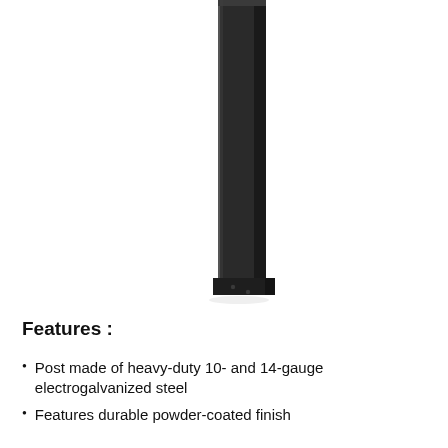[Figure (photo): A tall, narrow black square steel post photographed vertically against a white background. The post is powder-coated black and shows the bottom portion with small bolt holes near the base.]
Features :
Post made of heavy-duty 10- and 14-gauge electrogalvanized steel
Features durable powder-coated finish